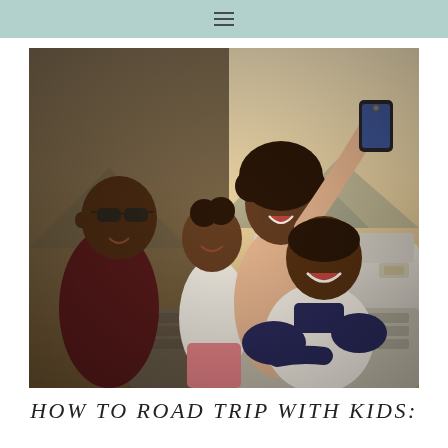≡
[Figure (photo): A Black family of four taking a selfie outdoors. A man with sunglasses on the left, a young girl in the middle-left, a woman in a peach top taking the selfie with a smartphone held up high, and a young boy in a navy and white raglan shirt in the foreground. They are posed on or near an old white/silver vehicle with mountains in the background. Warm sunny lighting.]
HOW TO ROAD TRIP WITH KIDS: